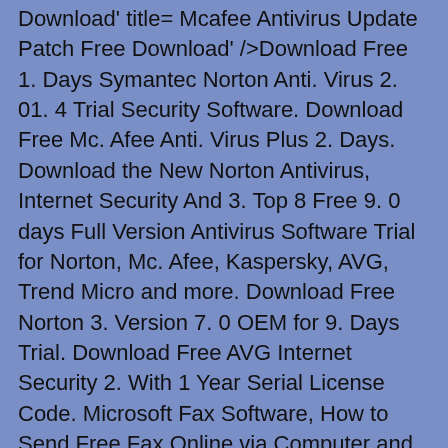Download' title='Mcafee Antivirus Update Patch Free Download' />Download Free 1. Days Symantec Norton Anti. Virus 2. 01. 4 Trial Security Software. Download Free Mc. Afee Anti. Virus Plus 2. Days. Download the New Norton Antivirus, Internet Security And 3. Top 8 Free 9. 0 days Full Version Antivirus Software Trial for Norton, Mc. Afee, Kaspersky, AVG, Trend Micro and more. Download Free Norton 3. Version 7. 0 OEM for 9. Days Trial. Download Free AVG Internet Security 2. With 1 Year Serial License Code. Microsoft Fax Software, How to Send Free Fax Online via Computer and Email. Best Mac OS X Anti Spyware and Anti Virus Software for Free. Download Free Kaspersky Internet Security Antivirus 2. Windows 8. 6 Months Free Genuine Serial Number For Panda Internet Security Antivirus 2. Major. Geeks. Com Major. Geeks. Auto. Hide. Mouse. Cursor is a small portable tool that allows you to set specific times for your mouse cursor to disappear from the screen. Steel. Series Engine is designed to manage all of your Steel. Series headsets,